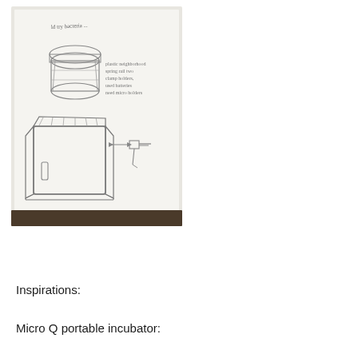[Figure (illustration): A pencil sketch on white paper showing two hand-drawn illustrations of a portable incubator device. The top sketch shows a cylindrical/barrel-shaped device with a lid and some handwritten notes. The bottom sketch shows a more detailed box-shaped device with a handle, door, and a separate plug/connector element. There is handwritten text at the top reading something like 'ld ... try bacteria...' and notes beside the top sketch.]
Inspirations:
Micro Q portable incubator: